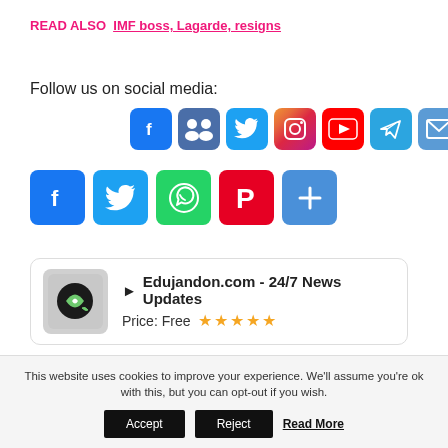READ ALSO  IMF boss, Lagarde, resigns
Follow us on social media:
[Figure (infographic): Row of 7 social media icon buttons: Facebook, Groups/MySpace, Twitter, Instagram, YouTube, Telegram, Email]
[Figure (infographic): Row of 5 share buttons: Facebook, Twitter, WhatsApp, Pinterest, More/Plus]
[Figure (infographic): App promotion box with Edujandon.com logo, title 'Edujandon.com - 24/7 News Updates', Price: Free with 5 stars]
RELATED TOPICS:   #ENTERTAINMENT
This website uses cookies to improve your experience. We'll assume you're ok with this, but you can opt-out if you wish.